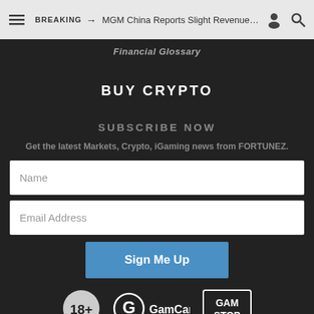BREAKING → MGM China Reports Slight Revenue Incre...
Financial Glossary
BUY CRYPTO
SUBSCRIBE NOW
Get the latest Markets, Crypto, iGaming news from FORTUNEZ.
Name
Email Address
Sign Me Up
[Figure (logo): 18+ age restriction badge, GamCare logo, and GamStop logo]